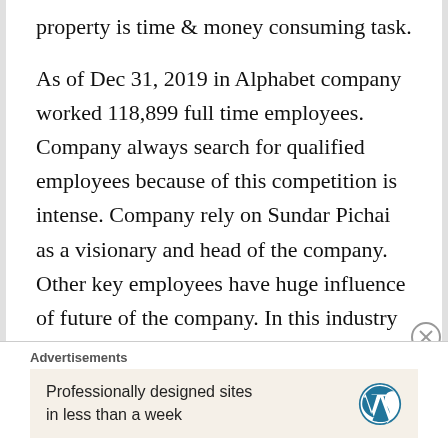property is time & money consuming task.

As of Dec 31, 2019 in Alphabet company worked 118,899 full time employees. Company always search for qualified employees because of this competition is intense. Company rely on Sundar Pichai as a visionary and head of the company. Other key employees have huge influence of future of the company. In this industry competition is high and all other competitors search for highly qualified individuals (sometimes propose higher paycheck).
Advertisements
Professionally designed sites in less than a week